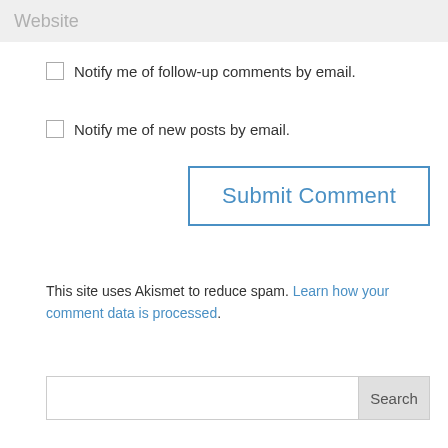Website
Notify me of follow-up comments by email.
Notify me of new posts by email.
Submit Comment
This site uses Akismet to reduce spam. Learn how your comment data is processed.
Search